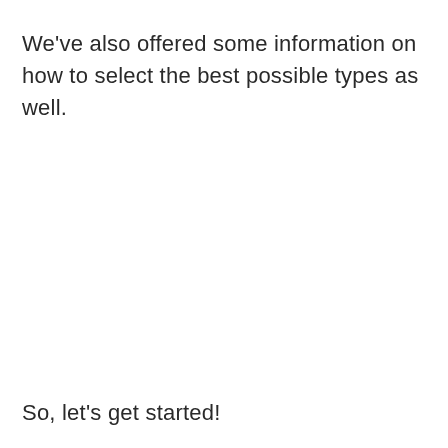We've also offered some information on how to select the best possible types as well.
So, let's get started!